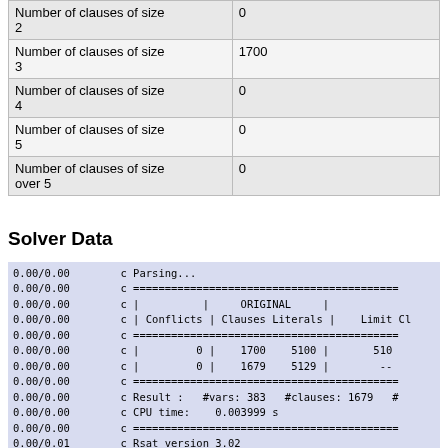|  |  |
| --- | --- |
| Number of clauses of size 2 | 0 |
| Number of clauses of size 3 | 1700 |
| Number of clauses of size 4 | 0 |
| Number of clauses of size 5 | 0 |
| Number of clauses of size over 5 | 0 |
Solver Data
0.00/0.00   c Parsing...
0.00/0.00   c ==========================================
0.00/0.00   c |          |     ORIGINAL     |
0.00/0.00   c | Conflicts | Clauses Literals |    Limit Cl
0.00/0.00   c ==========================================
0.00/0.00   c |         0 |    1700    5100 |       510
0.00/0.00   c |         0 |    1679    5129 |        --
0.00/0.00   c ==========================================
0.00/0.00   c Result :   #vars: 383   #clauses: 1679   #
0.00/0.00   c CPU time:    0.003999 s
0.00/0.00   c ==========================================
0.00/0.01   c Rsat version 3.02
0.00/0.01   c Base unit clause learned: 0
1200.07/1200.71 HOME/rsat.sh: line 55: 24249 Terminated